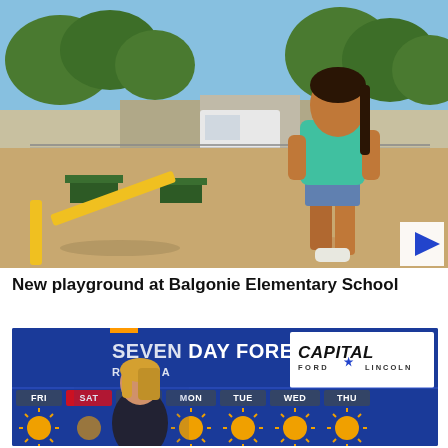[Figure (photo): Video thumbnail showing a girl running on a playground with yellow equipment, picnic tables in background, trees and sunny sky. White play button overlay in bottom-right corner.]
New playground at Balgonie Elementary School
[Figure (screenshot): TV weather broadcast screenshot showing 'SEVEN DAY FORECAST REGINA' with Capital Ford Lincoln sponsor logo. Days shown: FRI, SAT (partially obscured by weathercaster), SUN, MON, TUE, WED, THU with sun icons. Female weathercaster standing in foreground.]